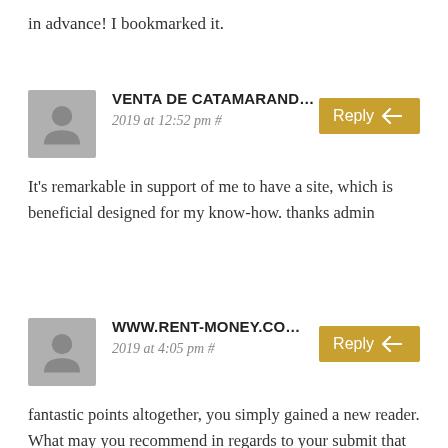in advance! I bookmarked it.
VENTA DE CATAMARAND…
2019 at 12:52 pm #
It's remarkable in support of me to have a site, which is beneficial designed for my know-how. thanks admin
WWW.RENT-MONEY.CO…
2019 at 4:05 pm #
fantastic points altogether, you simply gained a new reader. What may you recommend in regards to your submit that